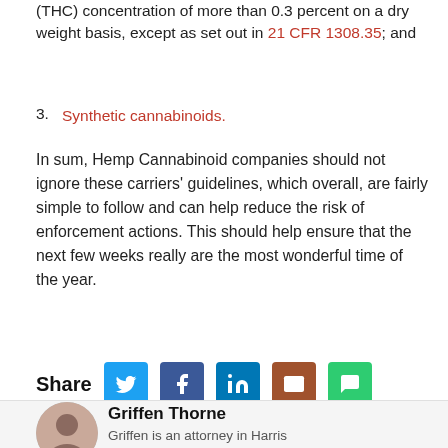(THC) concentration of more than 0.3 percent on a dry weight basis, except as set out in 21 CFR 1308.35; and
3. Synthetic cannabinoids.
In sum, Hemp Cannabinoid companies should not ignore these carriers' guidelines, which overall, are fairly simple to follow and can help reduce the risk of enforcement actions. This should help ensure that the next few weeks really are the most wonderful time of the year.
Share
Griffen Thorne
Griffen is an attorney in Harris